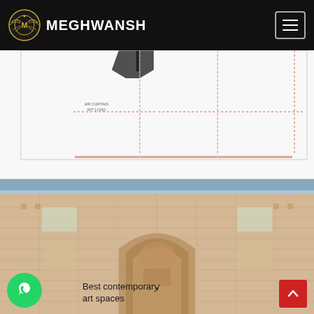MEGHWANSH
[Figure (engineering-diagram): Air curtain engineering diagram with AIR CURTAIN 4FT LONG label, dotted dimension lines, and horizontal dimension line at bottom]
[Figure (photo): Photo of an ornate Indian palace/fort with intricate architectural details, arched entrance, decorative carvings and frescoes]
Best contemporary art spaces